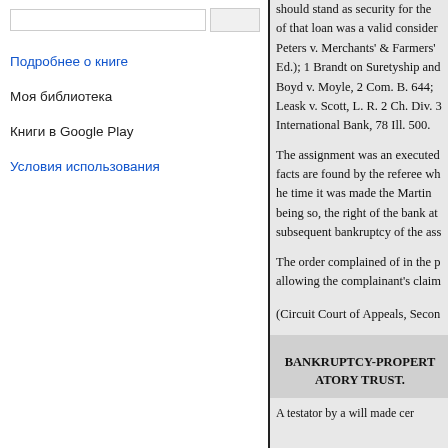Подробнее о книге
Моя библиотека
Книги в Google Play
Условия использования
should stand as security for the of that loan was a valid consider Peters v. Merchants' & Farmers' Ed.); 1 Brandt on Suretyship and Boyd v. Moyle, 2 Com. B. 644; Leask v. Scott, L. R. 2 Ch. Div. 3 International Bank, 78 Ill. 500.
The assignment was an executed facts are found by the referee wh he time it was made the Martin being so, the right of the bank at subsequent bankruptcy of the ass
The order complained of in the p allowing the complainant's claim
(Circuit Court of Appeals, Secon
BANKRUPTCY-PROPERT ATORY TRUST.
A testator by a will made cer